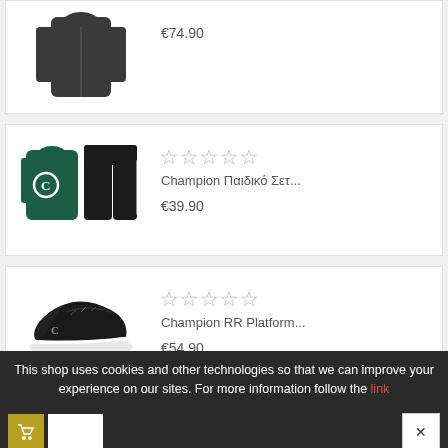[Figure (photo): Product card showing a dark hoodie/tracksuit, price €74.90]
€74.90
[Figure (photo): Product card showing Champion children's tracksuit set (teal jacket + black pants)]
Champion Παιδικό Σετ...
€39.90
[Figure (photo): Product card showing Champion RR Platform sneakers (black/white)]
Champion RR Platform...
€54.90
This shop uses cookies and other technologies so that we can improve your experience on our sites. For more information follow the link